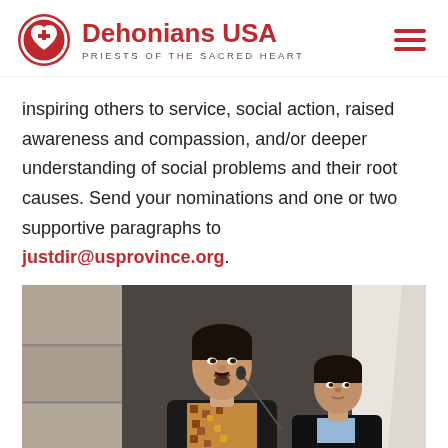Dehonians USA — PRIESTS OF THE SACRED HEART
inspiring others to service, social action, raised awareness and compassion, and/or deeper understanding of social problems and their root causes. Send your nominations and one or two supportive paragraphs to justdir@usprovince.org.
[Figure (photo): Two young Asian men in formal attire, the foreground man speaking at a lectern/podium with a microphone, wearing a black blazer over a patterned batik shirt; a second man stands behind him in a black suit with a light blue shirt, stone wall and architectural elements in the background.]